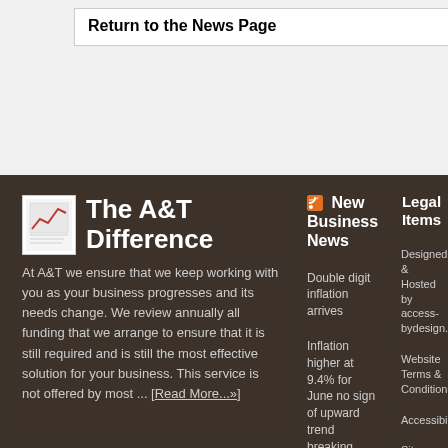Return to the News Page
The A&T Difference
At A&T we ensure that we keep working with you as your business progresses and its needs change. We review annually all funding that we arrange to ensure that it is still required and is still the most effective solution for your business. This service is not offered by most ... [Read More...»]
New Business News
Double digit inflation arrives
Inflation higher at 9.4% for June no sign of upward trend breaking
Government acts to make it easier for businesses to use temporary
Legal Items
Designed & Hosted by access-bydesign.com
Website Terms & Conditions
Accessibility
Sitemap
Viewing